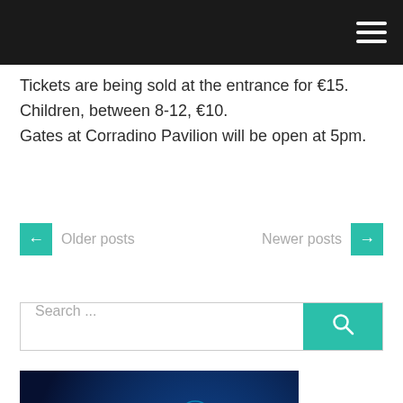[navigation bar with hamburger menu]
Tickets are being sold at the entrance for €15. Children, between 8-12, €10.
Gates at Corradino Pavilion will be open at 5pm.
← Older posts   Newer posts →
Search ...
[Figure (photo): Dark blue background image with a glowing soccer player silhouette and the text 'ELITE GROUP' in large cyan letters at the bottom]